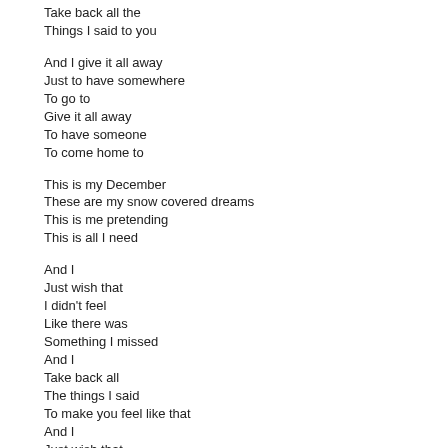Take back all the
Things I said to you

And I give it all away
Just to have somewhere
To go to
Give it all away
To have someone
To come home to

This is my December
These are my snow covered dreams
This is me pretending
This is all I need

And I
Just wish that
I didn't feel
Like there was
Something I missed
And I
Take back all
The things I said
To make you feel like that
And I
Just wish that
I didn't feel
Like there was
Something I missed
And I